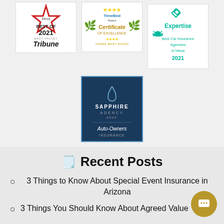[Figure (logo): Mesa Best of 2021 East Valley Tribune logo with red star]
[Figure (logo): ThreeBest Rated Certificate of Excellence logo with gold laurel wreath]
[Figure (logo): Expertise Best Car Insurance Agencies in Mesa 2021 logo with teal wreath]
[Figure (logo): Sapphire Agency 2020 Auto-Owners Insurance logo on dark blue background]
Recent Posts
3 Things to Know About Special Event Insurance in Arizona
3 Things You Should Know About Agreed Value